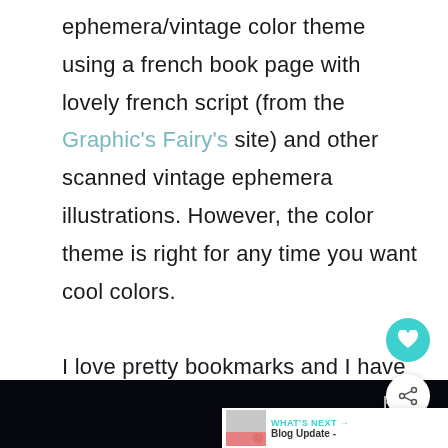ephemera/vintage color theme using a french book page with lovely french script (from the Graphic's Fairy's site) and other scanned vintage ephemera illustrations. However, the color theme is right for any time you want cool colors.

I love pretty bookmarks and I have several since I love to read.   I'm excited to add these to my designs and hope you find them functional as well as pretty.
[Figure (other): Dark/black bottom banner image partially visible at the bottom of the page, with light text 'E |||°' on right side]